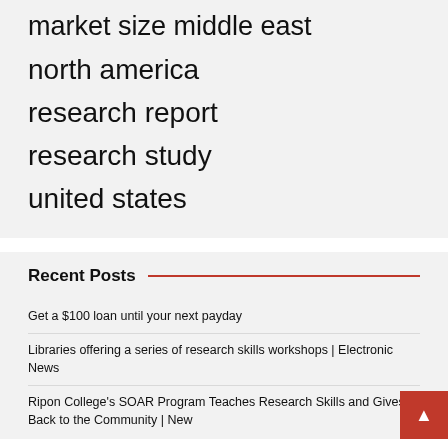market size middle east
north america
research report
research study
united states
Recent Posts
Get a $100 loan until your next payday
Libraries offering a series of research skills workshops | Electronic News
Ripon College's SOAR Program Teaches Research Skills and Gives Back to the Community | New